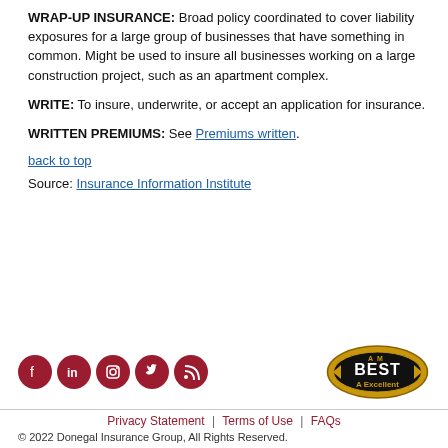WRAP-UP INSURANCE: Broad policy coordinated to cover liability exposures for a large group of businesses that have something in common. Might be used to insure all businesses working on a large construction project, such as an apartment complex.
WRITE: To insure, underwrite, or accept an application for insurance.
WRITTEN PREMIUMS: See Premiums written.
back to top
Source: Insurance Information Institute
[Figure (logo): Social media icons row (Facebook, LinkedIn, Instagram, Twitter, RSS) in dark red circles, and AM Best A Excellent badge]
Privacy Statement | Terms of Use | FAQs
© 2022 Donegal Insurance Group, All Rights Reserved.